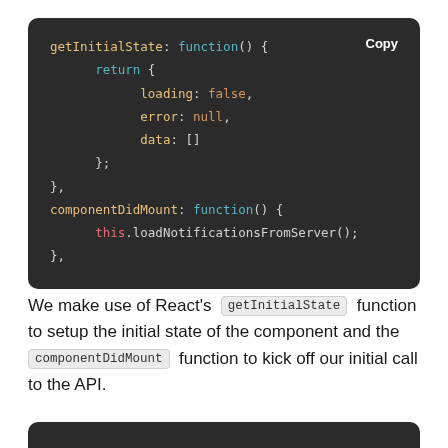[Figure (screenshot): Dark-themed code block showing JavaScript getInitialState and componentDidMount functions with syntax highlighting and a Copy button]
We make use of React's getInitialState function to setup the initial state of the component and the componentDidMount function to kick off our initial call to the API.